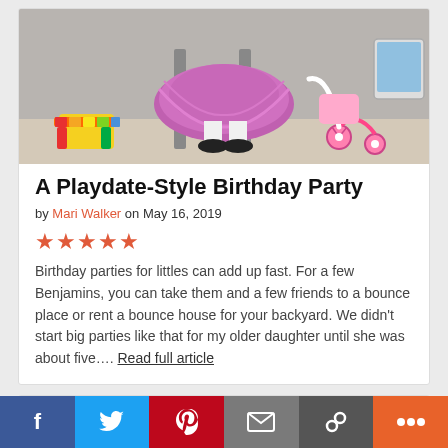[Figure (photo): Photo of a girl in a pink/purple tulle skirt with black shoes, toys visible in background including a colorful step stool and a pink toy stroller]
A Playdate-Style Birthday Party
by Mari Walker on May 16, 2019
[Figure (other): Five red/pink star rating icons]
Birthday parties for littles can add up fast. For a few Benjamins, you can take them and a few friends to a bounce place or rent a bounce house for your backyard. We didn't start big parties like that for my older daughter until she was about five.... Read full article
[Figure (photo): Partial view of another article card with an image, cropped at bottom of page]
[Figure (infographic): Social sharing bar with Facebook, Twitter, Pinterest, Email, Link, and More buttons]